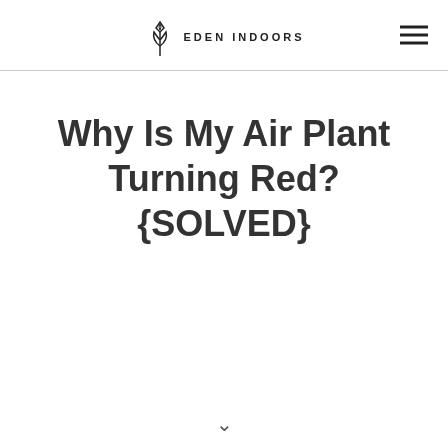EDEN INDOORS
Why Is My Air Plant Turning Red? {SOLVED}